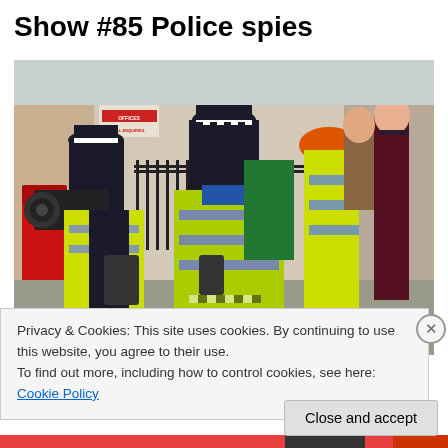Show #85 Police spies
[Figure (photo): Street scene with police officers in high-visibility yellow jackets and checkered-band caps, one filming with a video camera, crowd of people in background on a city street]
Privacy & Cookies: This site uses cookies. By continuing to use this website, you agree to their use.
To find out more, including how to control cookies, see here: Cookie Policy
Close and accept